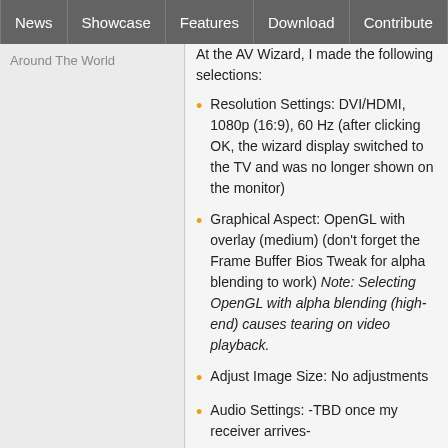News | Showcase | Features | Download | Contribute | Support
Around The World
At the AV Wizard, I made the following selections:
Resolution Settings: DVI/HDMI, 1080p (16:9), 60 Hz (after clicking OK, the wizard display switched to the TV and was no longer shown on the monitor)
Graphical Aspect: OpenGL with overlay (medium) (don't forget the Frame Buffer Bios Tweak for alpha blending to work) Note: Selecting OpenGL with alpha blending (high-end) causes tearing on video playback.
Adjust Image Size: No adjustments
Audio Settings: -TBD once my receiver arrives-
Note: After selecting the resolution, there is no longer any output from the VGA port. At this point, I put the CRT monitor back in the closet.